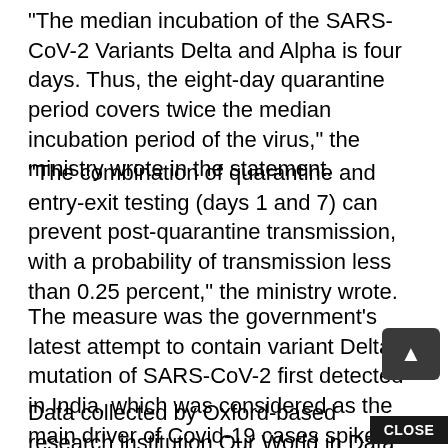"The median incubation of the SARS-CoV-2 Variants Delta and Alpha is four days. Thus, the eight-day quarantine period covers twice the median incubation period of the virus," the ministry wrote in the statement.
"The combination of quarantine and entry-exit testing (days 1 and 7) can prevent post-quarantine transmission, with a probability of transmission less than 0.25 percent," the ministry wrote.
The measure was the government's latest attempt to contain variant Delta, a mutation of SARS-CoV-2 first detected in India, which was considered as the main driver of Covid-19 cases spike in the most populous country in the past two weeks.
Data collected by Oxford-based research institution Our World in Data showed that the Delta variant